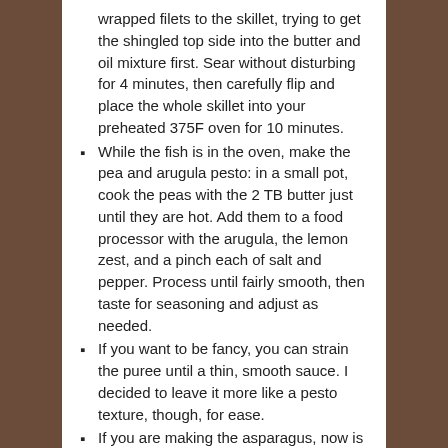wrapped filets to the skillet, trying to get the shingled top side into the butter and oil mixture first. Sear without disturbing for 4 minutes, then carefully flip and place the whole skillet into your preheated 375F oven for 10 minutes.
While the fish is in the oven, make the pea and arugula pesto: in a small pot, cook the peas with the 2 TB butter just until they are hot. Add them to a food processor with the arugula, the lemon zest, and a pinch each of salt and pepper. Process until fairly smooth, then taste for seasoning and adjust as needed.
If you want to be fancy, you can strain the puree until a thin, smooth sauce. I decided to leave it more like a pesto texture, though, for ease.
If you are making the asparagus, now is a good time to blanch it and toss it with a tiny bit of butter, lemon, and salt.
To serve, place a scoop of the puree in the center of a plate or a shallow bowl. Use the back of a spoon to spread it into a circle. Alternatively, if you strained the mixture into a sauce, just pour some into the